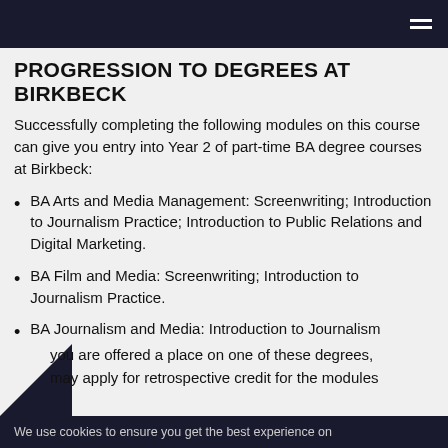≡
PROGRESSION TO DEGREES AT BIRKBECK
Successfully completing the following modules on this course can give you entry into Year 2 of part-time BA degree courses at Birkbeck:
BA Arts and Media Management: Screenwriting; Introduction to Journalism Practice; Introduction to Public Relations and Digital Marketing.
BA Film and Media: Screenwriting; Introduction to Journalism Practice.
BA Journalism and Media: Introduction to Journalism Practice.
you are offered a place on one of these degrees, may apply for retrospective credit for the modules
We use cookies to ensure you get the best experience on